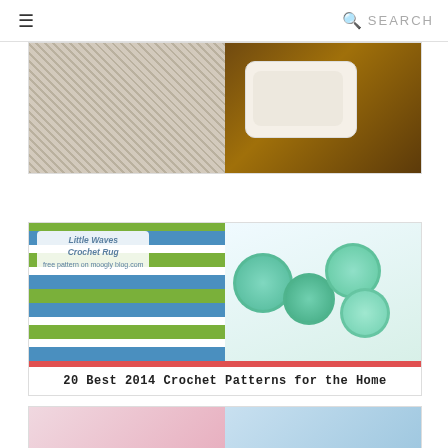≡   SEARCH
[Figure (photo): Two-panel image: left shows a close-up of cream/beige crochet texture fabric; right shows a white ceramic casserole dish with blue floral design on a dark wooden surface]
[Figure (photo): Two-panel collage image: left shows a striped crochet rug (blue, white, green) with an overlaid label reading 'Little Waves Crochet Rug free pattern on moogly blog.com'; right shows circular crochet coasters in teal/mint/green tones on a white surface]
20 Best 2014 Crochet Patterns for the Home
[Figure (photo): Partial bottom image: left panel shows pink/pastel crochet basket; right panel shows light blue crochet item]